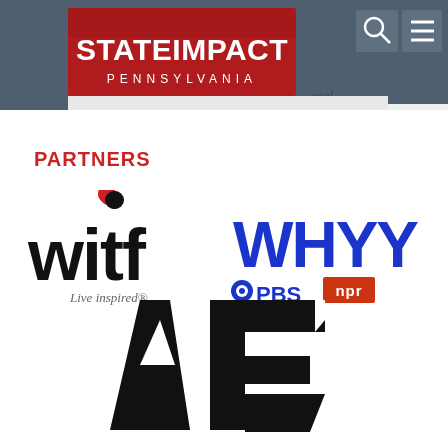[Figure (logo): StateImpact Pennsylvania website header with logo on dark blue-grey navigation bar with search and menu icons]
PARTNERS
[Figure (logo): witf Live inspired radio station logo - black wordmark with red accent dot and italic tagline]
[Figure (logo): WHYY PBS NPR logo - blue WHYY wordmark with PBS eye icon and NPR red badge]
[Figure (logo): AP (Associated Press) large black geometric logo mark]